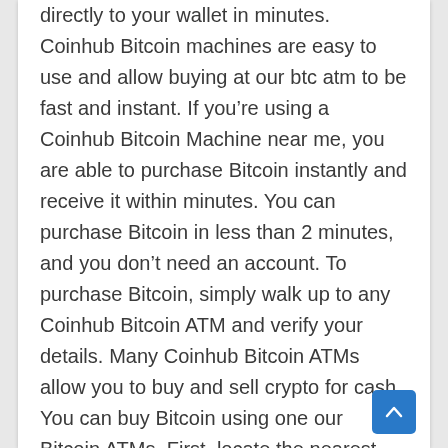directly to your wallet in minutes. Coinhub Bitcoin machines are easy to use and allow buying at our btc atm to be fast and instant. If you're using a Coinhub Bitcoin Machine near me, you are able to purchase Bitcoin instantly and receive it within minutes. You can purchase Bitcoin in less than 2 minutes, and you don't need an account. To purchase Bitcoin, simply walk up to any Coinhub Bitcoin ATM and verify your details. Many Coinhub Bitcoin ATMs allow you to buy and sell crypto for cash. You can buy Bitcoin using one our Bitcoin ATMs. First, locate the nearest Bitcoin ATM in your area by visiting our Coinhub Bitcoin ATM Locator. Enter your phone number and walk up to the machine. The machine will verify your phone using a code and scan the bitcoin wallet. Enter bills one bill at a time for the amount you would like to purchase and confirm the bitcoin atm prior to purchase. The bitcoin is instantly sent to your wallet. The daily buying limit is